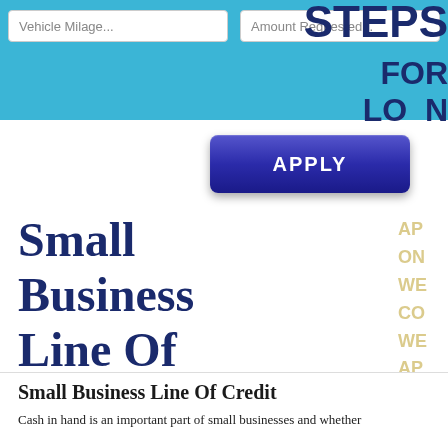[Figure (screenshot): Teal header bar with two text input fields labeled 'Vehicle Milage...' and 'Amount Requested...', overlaid with large dark blue 'STEPS' text and 'FOR LOAN' text, plus a dark blue rounded 'APPLY' button]
Small Business Line Of Credit
Small Business Line Of Credit
Cash in hand is an important part of small businesses and whether